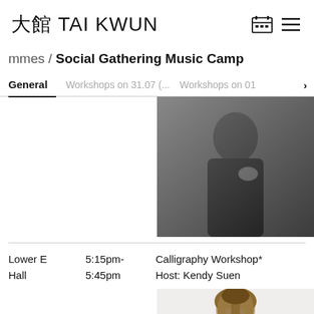大館 TAI KWUN
mmes / Social Gathering Music Camp
General | Workshops on 31.07 (... | Workshops on 01 >
[Figure (photo): Black and white portrait photo of a person in dark clothing, touching their collar/chest area, against a dark background]
Lower E Hall	5:15pm-5:45pm	Calligraphy Workshop*
Host: Kendy Suen
[Figure (photo): Portrait photo of a woman with short highlighted hair, wearing light-colored clothing, against a white background]